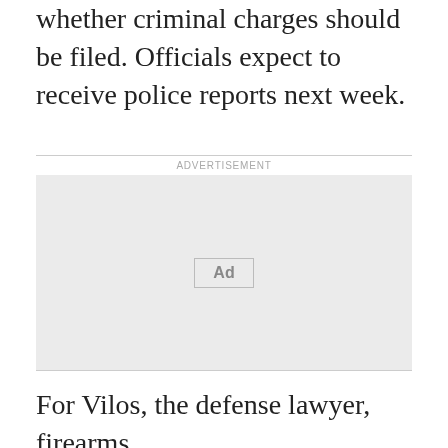whether criminal charges should be filed. Officials expect to receive police reports next week.
[Figure (other): Advertisement placeholder box with 'Ad' button label]
For Vilos, the defense lawyer, firearms instructors say the #Self Defense Law of